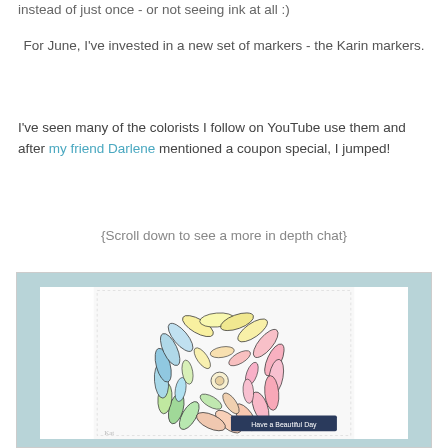instead of just once - or not seeing ink at all :)
For June, I've invested in a new set of markers - the Karin markers.
I've seen many of the colorists I follow on YouTube use them and after my friend Darlene mentioned a coupon special, I jumped!
{Scroll down to see a more in depth chat}
[Figure (photo): A greeting card with a large colorful chrysanthemum flower drawn with rainbow-colored Karin markers on a white panel, mounted on a teal background. The card has a banner reading 'Have a Beautiful Day'.]